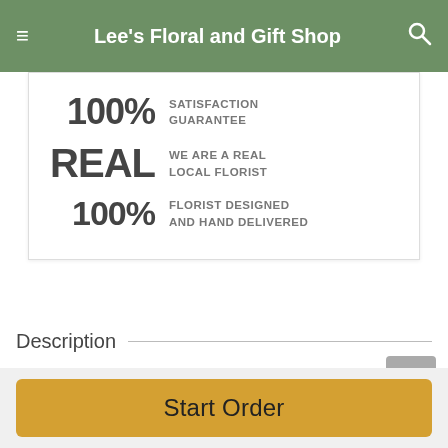Lee's Floral and Gift Shop
100% SATISFACTION GUARANTEE
REAL WE ARE A REAL LOCAL FLORIST
100% FLORIST DESIGNED AND HAND DELIVERED
Description
This Christmas, give them your heart! The holiday season is a time for giving, loving, and joy. Make their heart beat a little faster with a reminder of their love. If their heart swells with
Start Order